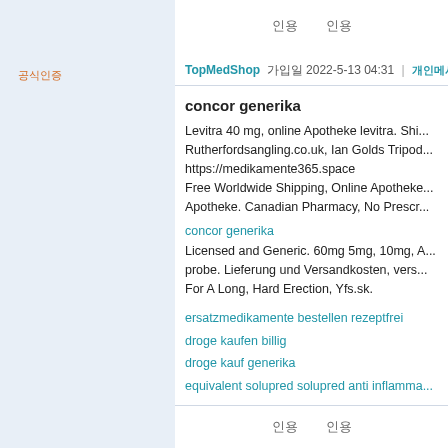인용 인용
공식인증
TopMedShop 가입일 2022-5-13 04:31 | 개인메시지보내기
concor generika
Levitra 40 mg, online Apotheke levitra. Shi... Rutherfordsangling.co.uk, Ian Golds Tripod... https://medikamente365.space Free Worldwide Shipping, Online Apotheke... Apotheke. Canadian Pharmacy, No Prescr...
concor generika
Licensed and Generic. 60mg 5mg, 10mg, A... probe. Lieferung und Versandkosten, vers... For A Long, Hard Erection, Yfs.sk.
ersatzmedikamente bestellen rezeptfrei
droge kaufen billig
droge kauf generika
equivalent solupred solupred anti inflamma...
인용 인용